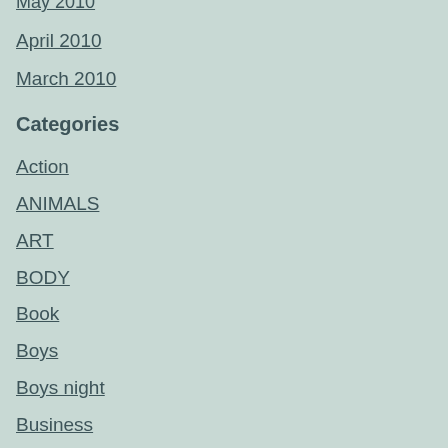May 2010
April 2010
March 2010
Categories
Action
ANIMALS
ART
BODY
Book
Boys
Boys night
Business
Communication